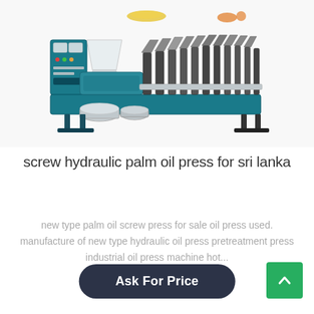[Figure (photo): Industrial screw hydraulic palm oil press machine — teal/green colored heavy machinery with control panel on the left, multiple press units extending to the right, metal barrels/bowls at the base, photographed on white background.]
screw hydraulic palm oil press for sri lanka
new type palm oil screw press for sale oil press used. manufacture of new type hydraulic oil press pretreatment press industrial oil press machine hot...